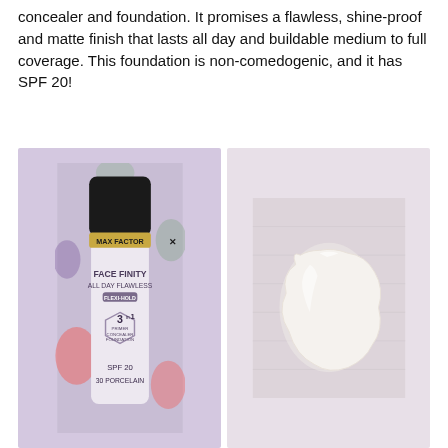concealer and foundation. It promises a flawless, shine-proof and matte finish that lasts all day and buildable medium to full coverage. This foundation is non-comedogenic, and it has SPF 20!
[Figure (photo): Max Factor Facefinity All Day Flawless 3-in-1 foundation bottle in shade 30 Porcelain, featuring Flexi-Hold technology, SPF 20 label, displayed against a floral background]
[Figure (photo): A swatch of pale/white foundation cream on a light fabric surface]